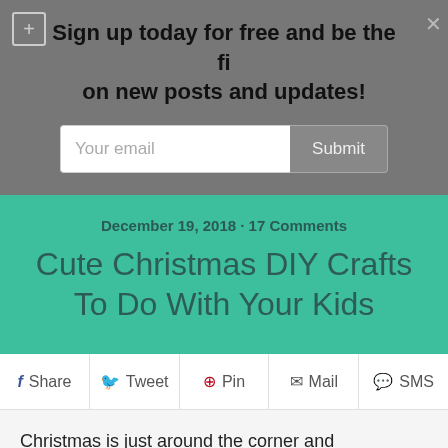Sign up today for free and be the fi… on new posts and updates!
[Figure (screenshot): Email subscription form with 'Your email' input field and 'Submit' button]
December 19, 2018 · 17 Comments
Cute Christmas DIY Crafts To Do With Your Kids
Share  Tweet  Pin  Mail  SMS
Christmas is just around the corner and decorations are a part of this grand festival. You really don't need to spend